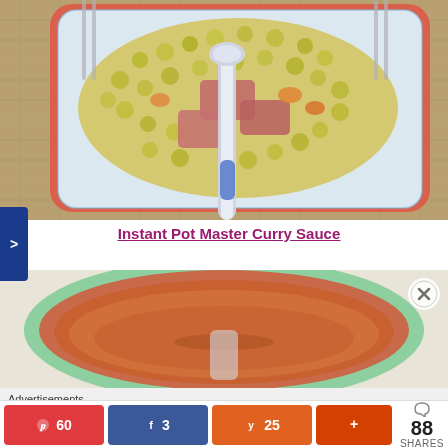[Figure (photo): Overhead shot of a blue and white floral patterned square bowl containing split peas or lentils with chunks of ham and carrots, with a decorative blue and white spoon, on a burlap background]
Instant Pot Master Curry Sauce
[Figure (photo): Overhead shot of a round mint green bowl containing orange-brown curry sauce with a spoon]
Advertisements
60
3
25
88 SHARES